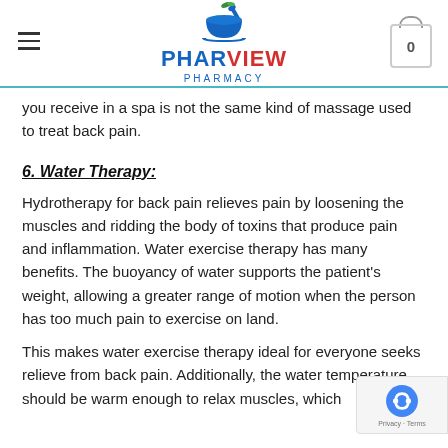PHARVIEW PHARMACY
you receive in a spa is not the same kind of massage used to treat back pain.
6. Water Therapy:
Hydrotherapy for back pain relieves pain by loosening the muscles and ridding the body of toxins that produce pain and inflammation. Water exercise therapy has many benefits. The buoyancy of water supports the patient's weight, allowing a greater range of motion when the person has too much pain to exercise on land.
This makes water exercise therapy ideal for everyone seeks relieve from back pain. Additionally, the water temperature should be warm enough to relax muscles, which